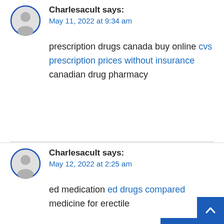Charlesacult says:
May 11, 2022 at 9:34 am
prescription drugs canada buy online cvs prescription prices without insurance canadian drug pharmacy
REPLY
Charlesacult says:
May 12, 2022 at 2:25 am
ed medication ed drugs compared medicine for erectile